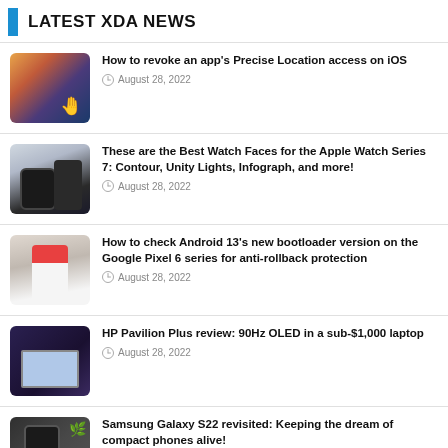LATEST XDA NEWS
How to revoke an app's Precise Location access on iOS — August 28, 2022
These are the Best Watch Faces for the Apple Watch Series 7: Contour, Unity Lights, Infograph, and more! — August 28, 2022
How to check Android 13's new bootloader version on the Google Pixel 6 series for anti-rollback protection — August 28, 2022
HP Pavilion Plus review: 90Hz OLED in a sub-$1,000 laptop — August 28, 2022
Samsung Galaxy S22 revisited: Keeping the dream of compact phones alive! — August 28, 2022